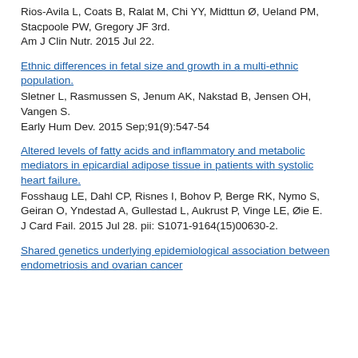Rios-Avila L, Coats B, Ralat M, Chi YY, Midttun Ø, Ueland PM, Stacpoole PW, Gregory JF 3rd.
Am J Clin Nutr. 2015 Jul 22.
Ethnic differences in fetal size and growth in a multi-ethnic population.
Sletner L, Rasmussen S, Jenum AK, Nakstad B, Jensen OH, Vangen S.
Early Hum Dev. 2015 Sep;91(9):547-54
Altered levels of fatty acids and inflammatory and metabolic mediators in epicardial adipose tissue in patients with systolic heart failure.
Fosshaug LE, Dahl CP, Risnes I, Bohov P, Berge RK, Nymo S, Geiran O, Yndestad A, Gullestad L, Aukrust P, Vinge LE, Øie E.
J Card Fail. 2015 Jul 28. pii: S1071-9164(15)00630-2.
Shared genetics underlying epidemiological association between endometriosis and ovarian cancer